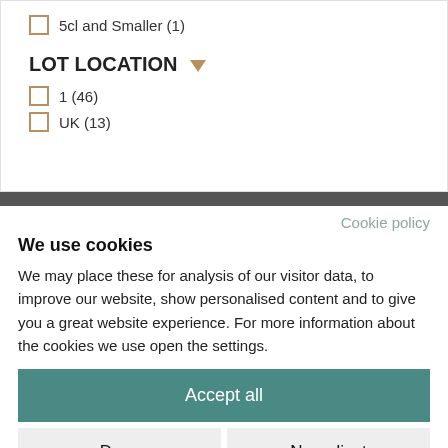5cl and Smaller (1)
LOT LOCATION
1 (46)
UK (13)
Cookie policy
We use cookies
We may place these for analysis of our visitor data, to improve our website, show personalised content and to give you a great website experience. For more information about the cookies we use open the settings.
Accept all
Deny
No, adjust